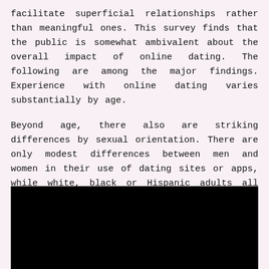facilitate superficial relationships rather than meaningful ones. This survey finds that the public is somewhat ambivalent about the overall impact of online dating. The following are among the major findings. Experience with online dating varies substantially by age.
Beyond age, there also are striking differences by sexual orientation. There are only modest differences between men and women in their use of dating sites or apps, while white, black or Hispanic adults all are equally likely to say they have ever used these platforms.
[Figure (other): Black rectangle representing an image or chart area (content not visible)]